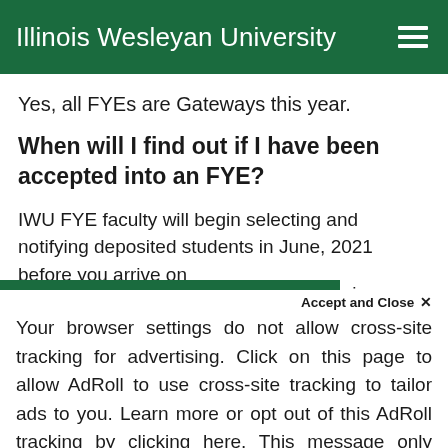Illinois Wesleyan University
Yes, all FYEs are Gateways this year.
When will I find out if I have been accepted into an FYE?
IWU FYE faculty will begin selecting and notifying deposited students in June, 2021 before you arrive on campus. Spaces in FYEs are limited...
We use cookies to improve your experience on our website. By continuing to use our site...
Accept and Close ×
Your browser settings do not allow cross-site tracking for advertising. Click on this page to allow AdRoll to use cross-site tracking to tailor ads to you. Learn more or opt out of this AdRoll tracking by clicking here. This message only appears once.
how do I decide if participating in an FYE is the